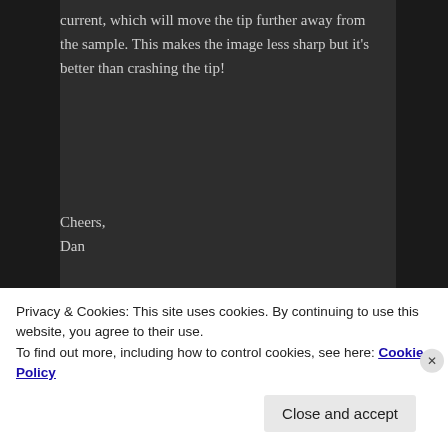current, which will move the tip further away from the sample. This makes the image less sharp but it's better than crashing the tip!
Cheers,
Dan
★ Like
Reply ↓
Vitor Barbosa
on July 30, 2019 at 8:40 pm
Privacy & Cookies: This site uses cookies. By continuing to use this website, you agree to their use.
To find out more, including how to control cookies, see here: Cookie Policy
Close and accept